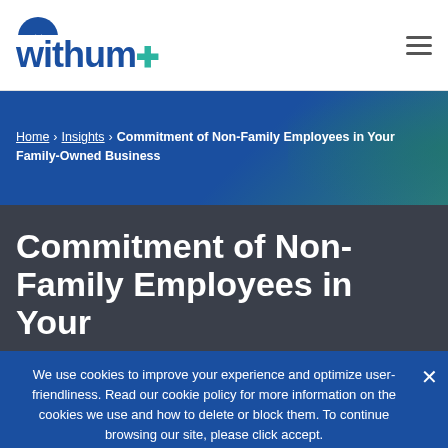[Figure (logo): Withum logo with blue wordmark and teal plus sign]
Home › Insights › Commitment of Non-Family Employees in Your Family-Owned Business
Commitment of Non-Family Employees in Your
We use cookies to improve your experience and optimize user-friendliness. Read our cookie policy for more information on the cookies we use and how to delete or block them. To continue browsing our site, please click accept.
Accept | Privacy policy